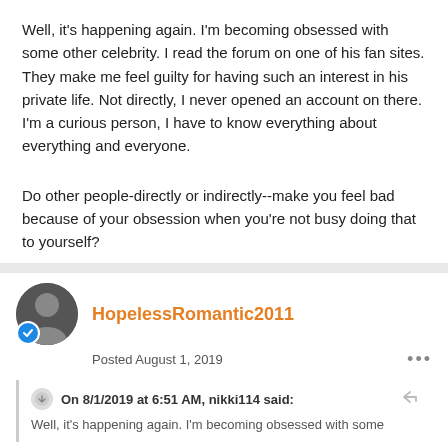Well, it's happening again.  I'm becoming obsessed with some other celebrity.  I read the forum on one of his fan sites.  They make me feel guilty for having such an interest in his private life.  Not directly, I never opened an account on there.  I'm a curious person, I have to know everything about everything and everyone.
Do other people-directly or indirectly--make you feel bad because of your obsession when you're not busy doing that to yourself?
HopelessRomantic2011
Posted August 1, 2019
On 8/1/2019 at 6:51 AM, nikki114 said:
Well, it's happening again.  I'm becoming obsessed with some